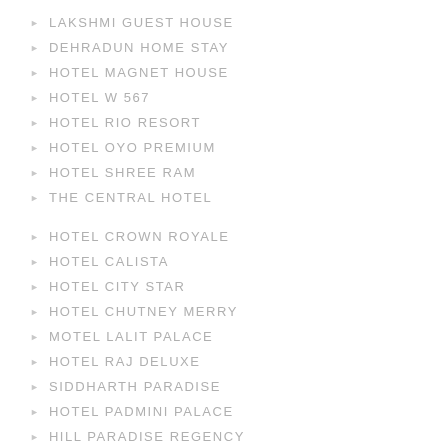LAKSHMI GUEST HOUSE
DEHRADUN HOME STAY
HOTEL MAGNET HOUSE
HOTEL W 567
HOTEL RIO RESORT
HOTEL OYO PREMIUM
HOTEL SHREE RAM
THE CENTRAL HOTEL
HOTEL CROWN ROYALE
HOTEL CALISTA
HOTEL CITY STAR
HOTEL CHUTNEY MERRY
MOTEL LALIT PALACE
HOTEL RAJ DELUXE
SIDDHARTH PARADISE
HOTEL PADMINI PALACE
HILL PARADISE REGENCY